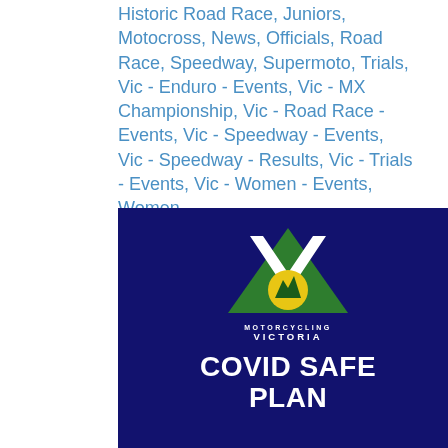Historic Road Race, Juniors, Motocross, News, Officials, Road Race, Speedway, Supermoto, Trials, Vic - Enduro - Events, Vic - MX Championship, Vic - Road Race - Events, Vic - Speedway - Events, Vic - Speedway - Results, Vic - Trials - Events, Vic - Women - Events, Women
[Figure (logo): Motorcycling Victoria logo with green triangle, white V shape, yellow circle with green mountain/landscape motif. Text reads MOTORCYCLING VICTORIA. Below in large bold white text: COVID SAFE PLAN on dark navy blue background.]
9th December 2021 Motorcycling Vic